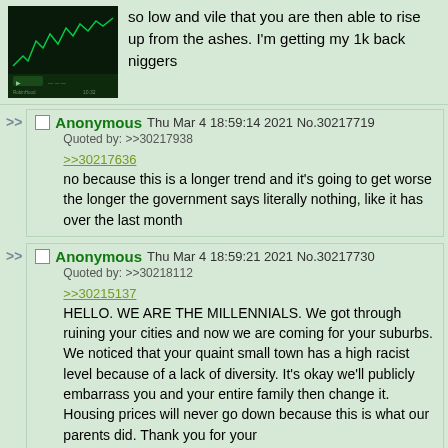so low and vile that you are then able to rise up from the ashes. I'm getting my 1k back niggers
Anonymous Thu Mar 4 18:59:14 2021 No.30217719
Quoted by: >>30217938
>>30217636
no because this is a longer trend and it's going to get worse the longer the government says literally nothing, like it has over the last month
Anonymous Thu Mar 4 18:59:21 2021 No.30217730
Quoted by: >>30218112
>>30215137
HELLO. WE ARE THE MILLENNIALS. We got through ruining your cities and now we are coming for your suburbs. We noticed that your quaint small town has a high racist level because of a lack of diversity. It's okay we'll publicly embarrass you and your entire family then change it. Housing prices will never go down because this is what our parents did. Thank you for your